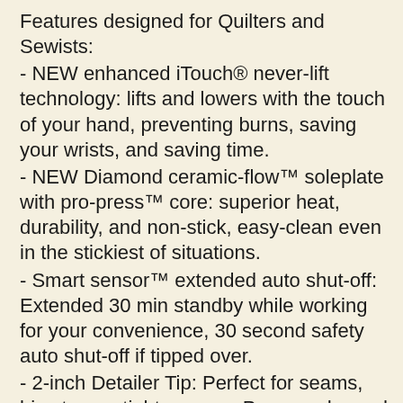Features designed for Quilters and Sewists:
- NEW enhanced iTouch® never-lift technology: lifts and lowers with the touch of your hand, preventing burns, saving your wrists, and saving time.
- NEW Diamond ceramic-flow™ soleplate with pro-press™ core: superior heat, durability, and non-stick, easy-clean even in the stickiest of situations.
- Smart sensor™ extended auto shut-off: Extended 30 min standby while working for your convenience, 30 second safety auto shut-off if tipped over.
- 2-inch Detailer Tip: Perfect for seams, bias tape + tight corners. Press under and over pleats, pockets, cuffs and collars with ease.
- Longest cord in class: 12' with a 360° pivot.